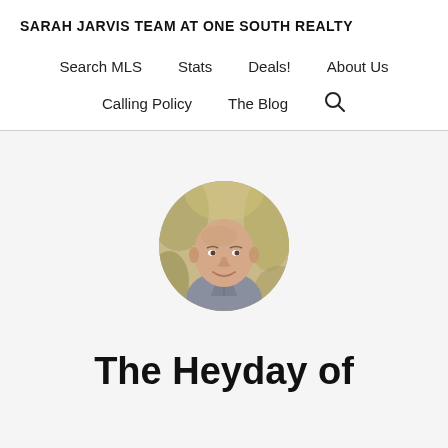SARAH JARVIS TEAM AT ONE SOUTH REALTY
Search MLS   Stats   Deals!   About Us
Calling Policy   The Blog   🔍
[Figure (photo): Circular headshot photo of a bald middle-aged man in a grey sweater, smiling, with a blurred outdoor background]
The Heyday of